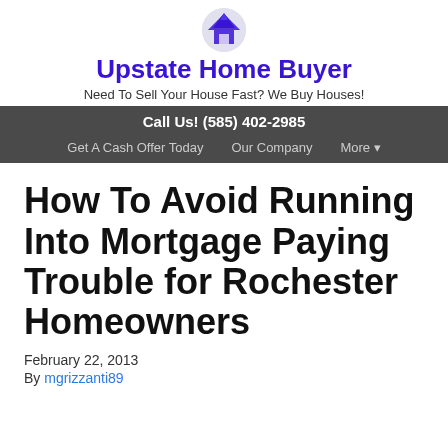[Figure (logo): Upstate Home Buyer logo icon - house/mountain silhouette in blue and white circle]
Upstate Home Buyer
Need To Sell Your House Fast? We Buy Houses!
Call Us! (585) 402-2985
Get A Cash Offer Today   Our Company   More ▾
How To Avoid Running Into Mortgage Paying Trouble for Rochester Homeowners
February 22, 2013
By mgrizzanti89